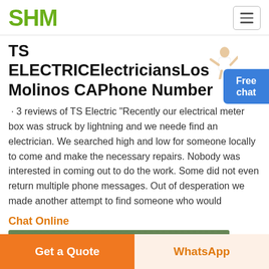SHM
TS ELECTRICElectriciansLos Molinos CAPhone Number
· 3 reviews of TS Electric "Recently our electrical meter box was struck by lightning and we needed to find an electrician. We searched high and low for someone locally to come and make the necessary repairs. Nobody was interested in coming out to do the work. Some did not even return multiple phone messages. Out of desperation we made another attempt to find someone who would
Chat Online
[Figure (photo): Green outdoor photo strip at bottom of content area]
Get a Quote
WhatsApp